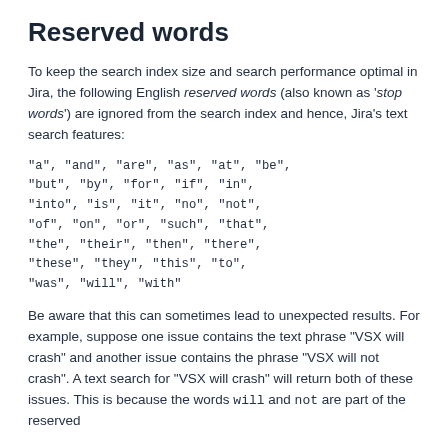Reserved words
To keep the search index size and search performance optimal in Jira, the following English reserved words (also known as 'stop words') are ignored from the search index and hence, Jira's text search features:
"a", "and", "are", "as", "at", "be", "but", "by", "for", "if", "in", "into", "is", "it", "no", "not", "of", "on", "or", "such", "that", "the", "their", "then", "there", "these", "they", "this", "to", "was", "will", "with"
Be aware that this can sometimes lead to unexpected results. For example, suppose one issue contains the text phrase "VSX will crash" and another issue contains the phrase "VSX will not crash". A text search for "VSX will crash" will return both of these issues. This is because the words will and not are part of the reserved